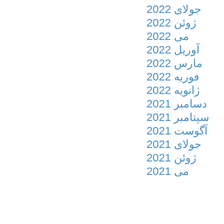جولای 2022
ژوئن 2022
می 2022
آوریل 2022
مارس 2022
فوریه 2022
ژانویه 2022
دسامبر 2021
سپتامبر 2021
آگوست 2021
جولای 2021
ژوئن 2021
می 2021